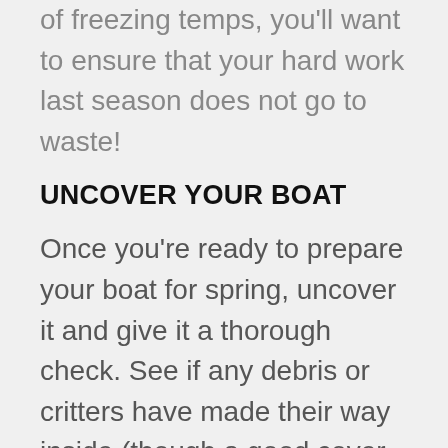of freezing temps, you'll want to ensure that your hard work last season does not go to waste!
UNCOVER YOUR BOAT
Once you're ready to prepare your boat for spring, uncover it and give it a thorough check. See if any debris or critters have made their way inside (though a good cover or shrink-wrapping will prevent that!), and take note of anything you notice that should be cleaned up, replaced or fixed before hitting the water.
CHECK YOUR ENGINE AND FUEL